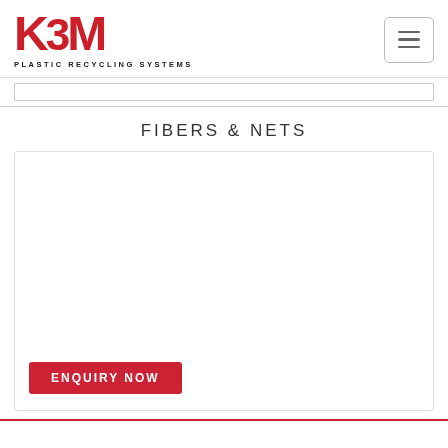[Figure (logo): KBM Plastic Recycling Systems logo in red with hamburger menu button]
FIBERS & NETS
[Figure (other): Large white content card area for Fibers & Nets product image]
ENQUIRY NOW